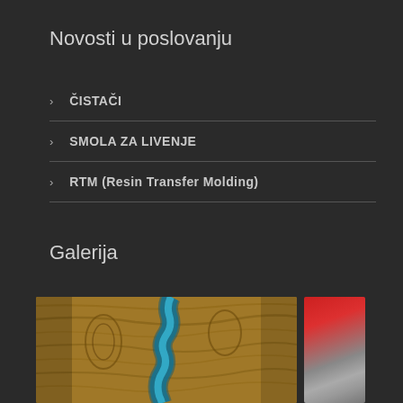Novosti u poslovanju
ČISTAČI
SMOLA ZA LIVENJE
RTM (Resin Transfer Molding)
Galerija
[Figure (photo): Gallery showing a wooden table with blue resin river inlay, and a partial view of a red/grey material next to it]